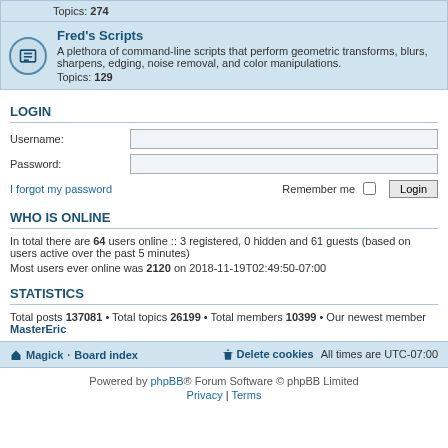Topics: 274
Fred's Scripts
A plethora of command-line scripts that perform geometric transforms, blurs, sharpens, edging, noise removal, and color manipulations. Topics: 129
LOGIN
Username:
Password:
I forgot my password   Remember me  [checkbox]  Login
WHO IS ONLINE
In total there are 64 users online :: 3 registered, 0 hidden and 61 guests (based on users active over the past 5 minutes)
Most users ever online was 2120 on 2018-11-19T02:49:50-07:00
STATISTICS
Total posts 137081 • Total topics 26199 • Total members 10399 • Our newest member MasterEric
Magick · Board index   Delete cookies   All times are UTC-07:00
Powered by phpBB® Forum Software © phpBB Limited
Privacy | Terms